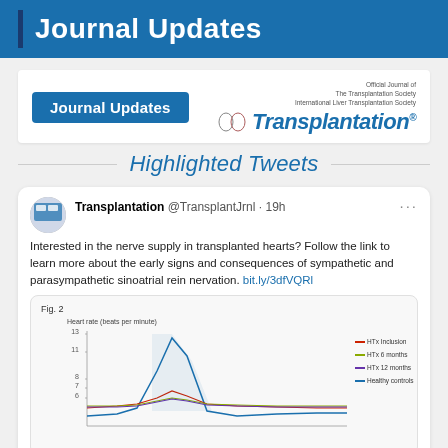Journal Updates
[Figure (logo): Journal Updates badge and Transplantation journal logo with official journal text for The Transplantation Society and International Liver Transplantation Society]
Highlighted Tweets
Transplantation @TransplantJrnl · 19h
Interested in the nerve supply in transplanted hearts? Follow the link to learn more about the early signs and consequences of sympathetic and parasympathetic sinoatrial rein nervation. bit.ly/3dfVQRl
[Figure (line-chart): Fig. 2 line chart showing Heart rate (beats per minute) with four series: HTx Inclusion (red), HTx 6 months (yellow-green), HTx 12 months (purple), Healthy controls (blue). Y-axis values approximately 6-13.]